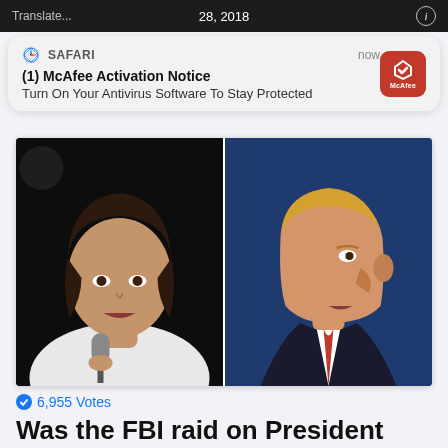28, 2018
(1) McAfee Activation Notice
Turn On Your Antivirus Software To Stay Protected
[Figure (photo): Side-by-side photo of Kamala Harris holding a microphone (left) and Donald Trump in profile (right)]
6,955 Votes
Was the FBI raid on President Trump's home politically